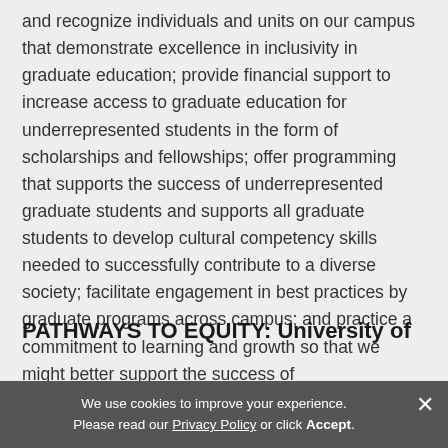and recognize individuals and units on our campus that demonstrate excellence in inclusivity in graduate education; provide financial support to increase access to graduate education for underrepresented students in the form of scholarships and fellowships; offer programming that supports the success of underrepresented graduate students and supports all graduate students to develop cultural competency skills needed to successfully contribute to a diverse society; facilitate engagement in best practices by graduate programs across campus; and practice a commitment to learning and growth so that we might better support the success of underrepresented graduate students whose valuable contributions to our university are critical to the success of our university.
PATHWAYS TO EQUITY: University of
We use cookies to improve your experience. Please read our Privacy Policy or click Accept.